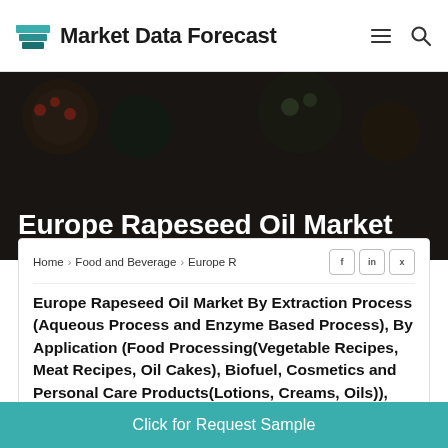Market Data Forecast
[Figure (photo): Hero food background image with dark overlay showing various food dishes]
Europe Rapeseed Oil Market
Home > Food and Beverage > Europe R
Europe Rapeseed Oil Market By Extraction Process (Aqueous Process and Enzyme Based Process), By Application (Food Processing(Vegetable Recipes, Meat Recipes, Oil Cakes), Biofuel, Cosmetics and Personal Care Products(Lotions, Creams, Oils)), and By Country (UK, France, Spain, Germany, Italy, Russia, Sweden, Denmark, Switzerland, Netherlands, Turkey, Czech Republic and Rest
Click for Request Sample